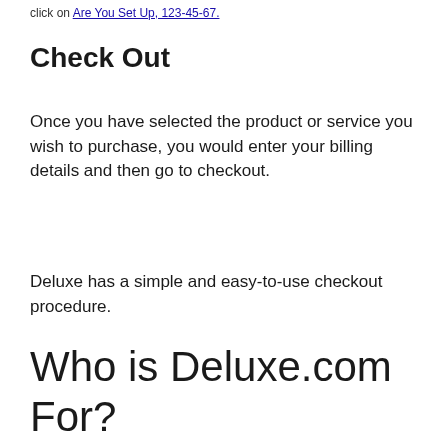click on Are You Set Up, 123-45-67.
Check Out
Once you have selected the product or service you wish to purchase, you would enter your billing details and then go to checkout.
Deluxe has a simple and easy-to-use checkout procedure.
Who is Deluxe.com For?